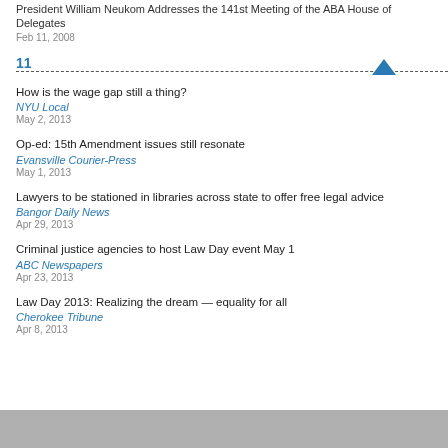President William Neukom Addresses the 141st Meeting of the ABA House of Delegates
Feb 11, 2008
11
How is the wage gap still a thing?
NYU Local
May 2, 2013
Op-ed: 15th Amendment issues still resonate
Evansville Courier-Press
May 1, 2013
Lawyers to be stationed in libraries across state to offer free legal advice
Bangor Daily News
Apr 29, 2013
Criminal justice agencies to host Law Day event May 1
ABC Newspapers
Apr 23, 2013
Law Day 2013: Realizing the dream — equality for all
Cherokee Tribune
Apr 8, 2013